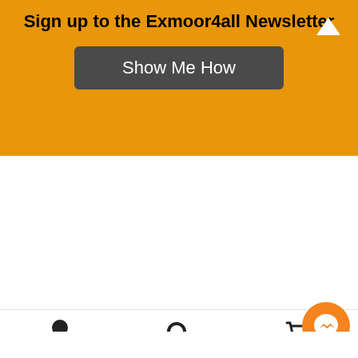Sign up to the Exmoor4all Newsletter
Show Me How
[Figure (photo): Close-up photo of a fluffy dark burgundy/wine colored snuggle scarf, showing textured fuzzy fabric]
Snuggle scarf
Store: Innes Davis Art
★★★★★
£25.00